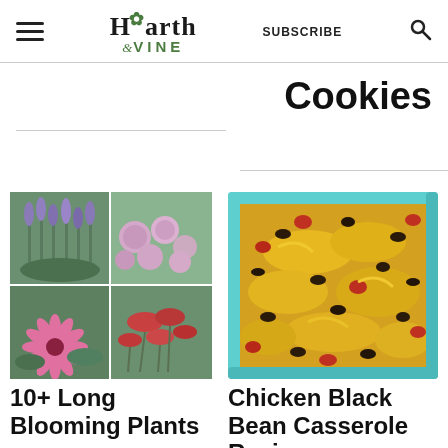Hearth & VINE | SUBSCRIBE
Cookies
[Figure (photo): Collage of four long-blooming plants: lavender, pink globe flowers, coneflower, and red yarrow]
10+ Long Blooming Plants
[Figure (photo): Chicken Black Bean Casserole in a teal baking dish topped with melted cheese]
Chicken Black Bean Casserole Recipe